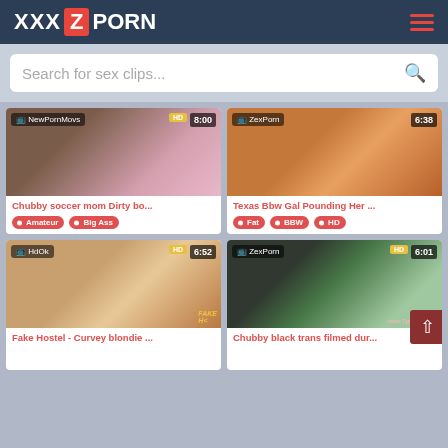XXX Z PORN
Search for sex clips...
[Figure (screenshot): Video thumbnail 1 - NewPornMovs, HD, 8:00]
Chubby soccer mom Dirty bo...
Amateur  Big Ass
[Figure (screenshot): Video thumbnail 2 - ZexPorn, 6:38]
Texas Bbw Gal Pounding Her ...
Fat  BBW  HD
[Figure (screenshot): Video thumbnail 3 - HdOk, HD, 6:52]
Fake Hostel - Curvey blondie ...
[Figure (screenshot): Video thumbnail 4 - ZexPorn, HD, 6:01]
Chubby black trans filmed dur...